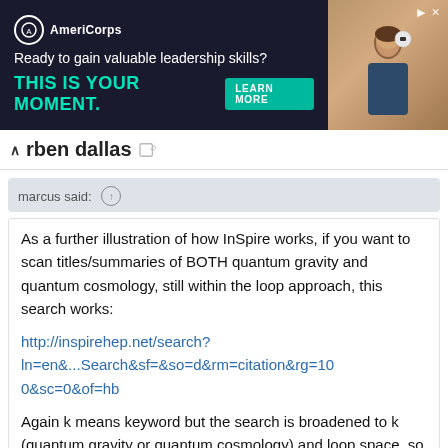[Figure (screenshot): AmeriCorps advertisement banner: dark navy background with logo, tagline 'Ready to gain valuable leadership skills?', headline 'THIS IS YOUR MOMENT.' in teal, LEARN MORE button, and photo of people on right side.]
rben dallas
marcus said: ↑
As a further illustration of how InSpire works, if you want to scan titles/summaries of BOTH quantum gravity and quantum cosmology, still within the loop approach, this search works:
http://inspirehep.net/search?ln=en&...Search&sf=&so=d&rm=citation&rg=100&sc=0&of=hb
Again k means keyword but the search is broadened to k (quantum gravity or quantum cosmology) and loop space, so you get more hits.